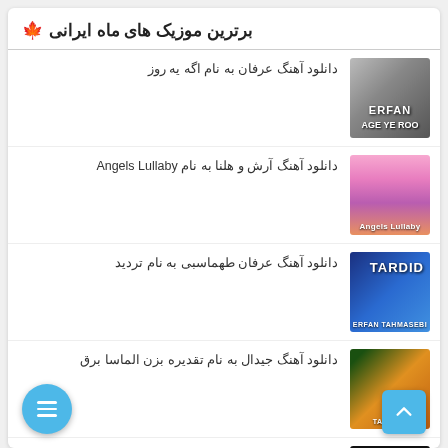🍂 برترین موزیک های ماه ایرانی
دانلود آهنگ عرفان به نام اگه یه روز
دانلود آهنگ آرش و هلنا به نام Angels Lullaby
دانلود آهنگ عرفان طهماسبی به نام تردید
دانلود آهنگ جیدال به نام تقدیره بزن الماسا برق
دانلود آهنگ عرفان پایدار و جیدال به نام میگیر...